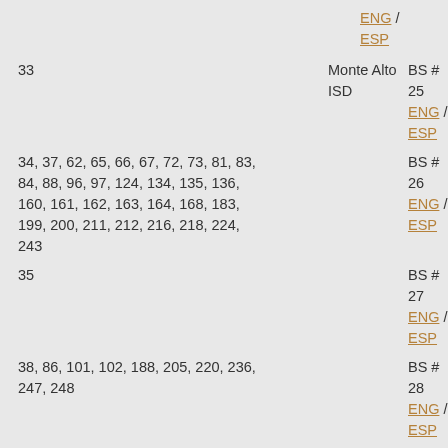ENG / ESP
33	Monte Alto ISD	BS # 25 ENG / ESP
34, 37, 62, 65, 66, 67, 72, 73, 81, 83, 84, 88, 96, 97, 124, 134, 135, 136, 160, 161, 162, 163, 164, 168, 183, 199, 200, 211, 212, 216, 218, 224, 243		BS # 26 ENG / ESP
35		BS # 27 ENG / ESP
38, 86, 101, 102, 188, 205, 220, 236, 247, 248		BS # 28 ENG / ESP
40, 235, 238		BS #